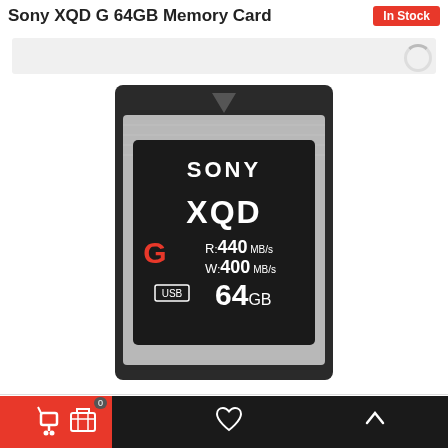Sony XQD G 64GB Memory Card
[Figure (photo): Sony XQD G 64GB memory card showing SONY branding, XQD logo, G series label in red, R:440 MB/s W:400 MB/s speeds, USB badge, and 64GB capacity. Card is black and silver with a dark housing.]
By continuing to browse this site you agree to the use of cookies. Find out more: www.aboutcookies.org